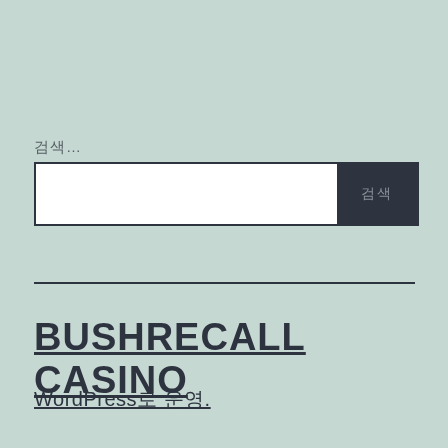검색…
[Figure (other): Search bar with white input field and dark button labeled 검색]
BUSHRECALL CASINO
WordPress로 운영.